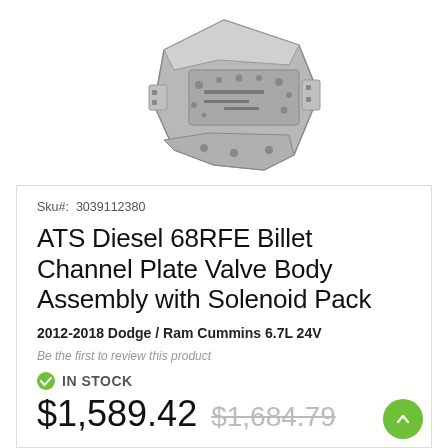[Figure (photo): Partial view of an ATS Diesel 68RFE Billet Channel Plate Valve Body Assembly with Solenoid Pack, showing metallic valve body component on white background]
Sku#:  3039112380
ATS Diesel 68RFE Billet Channel Plate Valve Body Assembly with Solenoid Pack
2012-2018 Dodge / Ram Cummins 6.7L 24V
Be the first to review this product
IN STOCK
$1,589.42  $1,684.79